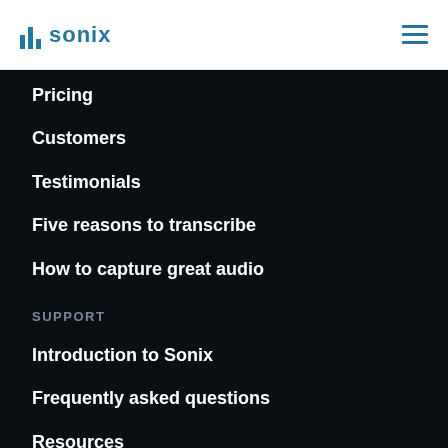sonix
Pricing
Customers
Testimonials
Five reasons to transcribe
How to capture great audio
SUPPORT
Introduction to Sonix
Frequently asked questions
Resources
Help center